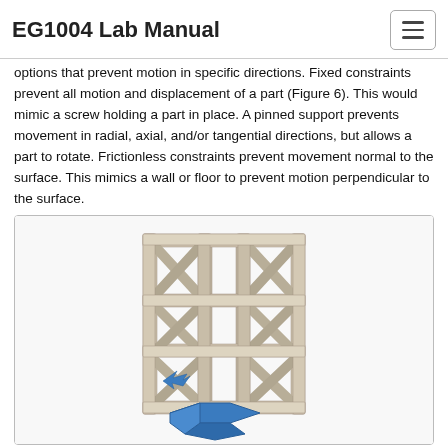EG1004 Lab Manual
options that prevent motion in specific directions. Fixed constraints prevent all motion and displacement of a part (Figure 6). This would mimic a screw holding a part in place. A pinned support prevents movement in radial, axial, and/or tangential directions, but allows a part to rotate. Frictionless constraints prevent movement normal to the surface. This mimics a wall or floor to prevent motion perpendicular to the surface.
[Figure (engineering-diagram): 3D CAD model of a structural truss/tower assembly showing grey rectangular frame members arranged in a lattice pattern with triangular cross-bracing. A blue arrow/pin support indicator is visible at the lower-left base of the structure. The bottom features a blue hexagonal base plate.]